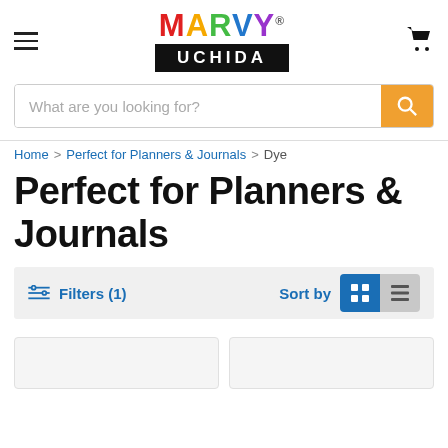[Figure (logo): Marvy Uchida logo — MARVY in multicolor letters above UCHIDA in white on black bar]
What are you looking for?
Home > Perfect for Planners & Journals > Dye
Perfect for Planners & Journals
Filters (1)  Sort by